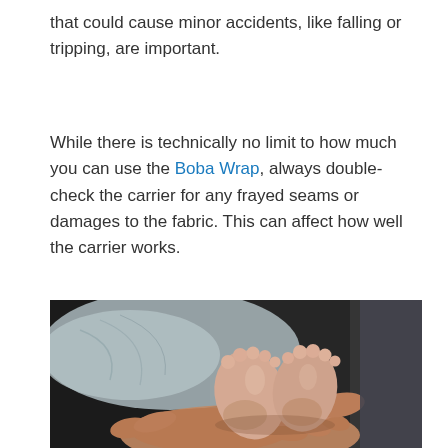that could cause minor accidents, like falling or tripping, are important.
While there is technically no limit to how much you can use the Boba Wrap, always double-check the carrier for any frayed seams or damages to the fabric. This can affect how well the carrier works.
[Figure (photo): A close-up photograph of an adult's hands cradling a newborn baby's tiny feet. The baby is wearing a light blue outfit and is lying back. The background is dark and blurred.]